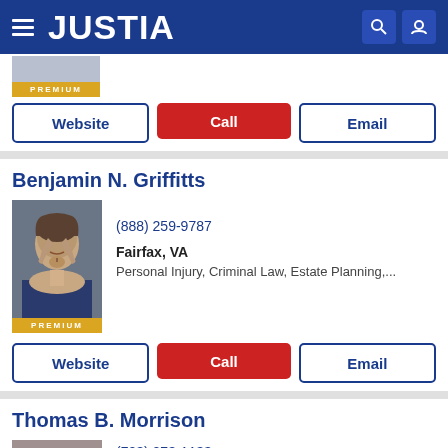JUSTIA
[Figure (screenshot): Partial premium attorney profile photo at top of page with PREMIUM badge]
Website | Call | Email
Benjamin N. Griffitts
[Figure (photo): Headshot photo of Benjamin N. Griffitts, a man in a suit with a beard, PREMIUM badge below]
(888) 259-9787
Fairfax, VA
Personal Injury, Criminal Law, Estate Planning,...
Website | Call | Email
Thomas B. Morrison
[Figure (photo): Partial headshot of Thomas B. Morrison, a balding man]
(703) 273-1133
Fairfax, VA